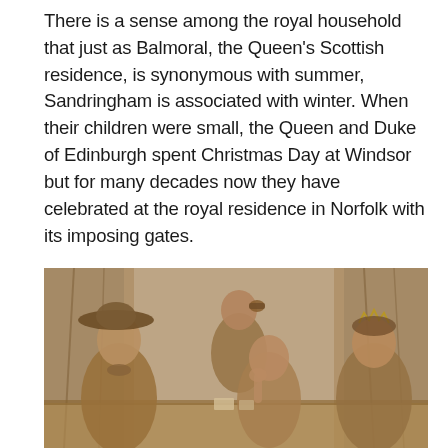There is a sense among the royal household that just as Balmoral, the Queen's Scottish residence, is synonymous with summer, Sandringham is associated with winter. When their children were small, the Queen and Duke of Edinburgh spent Christmas Day at Windsor but for many decades now they have celebrated at the royal residence in Norfolk with its imposing gates.
[Figure (photo): Sepia-toned vintage photograph showing four people in period costume around a table. A bald man stands at the back holding an object to his mouth. Three women are seated: one on the left wearing a wide-brimmed hat, one in the centre leaning on her hand, and one on the right wearing a tiara and smiling. Curtains are visible in the background.]